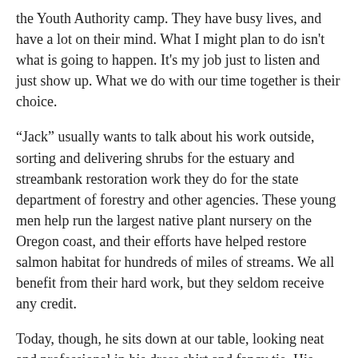the Youth Authority camp. They have busy lives, and have a lot on their mind. What I might plan to do isn't what is going to happen. It's my job just to listen and just show up. What we do with our time together is their choice.
“Jack” usually wants to talk about his work outside, sorting and delivering shrubs for the estuary and streambank restoration work they do for the state department of forestry and other agencies. These young men help run the largest native plant nursery on the Oregon coast, and their efforts have helped restore salmon habitat for hundreds of miles of streams. We all benefit from their hard work, but they seldom receive any credit.
Today, though, he sits down at our table, looking neat and professional in his dress shirt and fancy tie. His pressed black pants complete his new look.
“I’m doing a job interview today,” he grins. “Part of our class on getting ready to enter the work force.”
He’s fidgeting with his tie, not knowing what to do with his hands. “I’ve always been bad at job interviews,” he said.